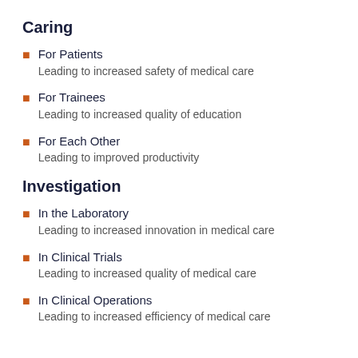Caring
For Patients
Leading to increased safety of medical care
For Trainees
Leading to increased quality of education
For Each Other
Leading to improved productivity
Investigation
In the Laboratory
Leading to increased innovation in medical care
In Clinical Trials
Leading to increased quality of medical care
In Clinical Operations
Leading to increased efficiency of medical care